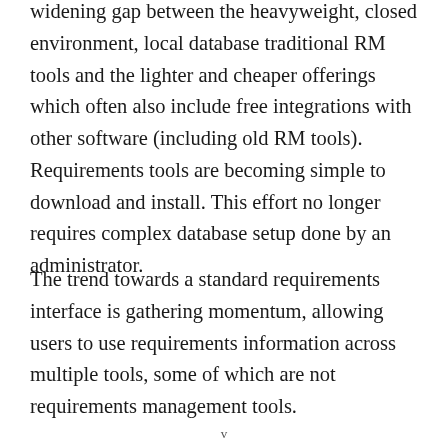widening gap between the heavyweight, closed environment, local database traditional RM tools and the lighter and cheaper offerings which often also include free integrations with other software (including old RM tools). Requirements tools are becoming simple to download and install. This effort no longer requires complex database setup done by an administrator.
The trend towards a standard requirements interface is gathering momentum, allowing users to use requirements information across multiple tools, some of which are not requirements management tools.